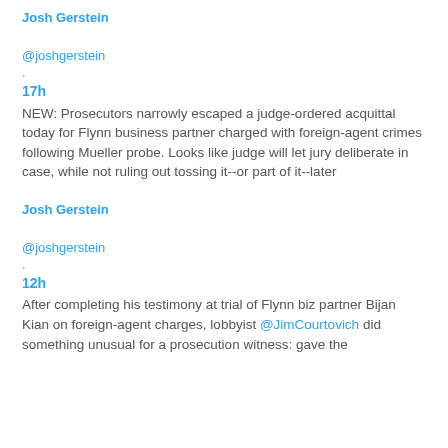Josh Gerstein
@joshgerstein
.
17h
NEW: Prosecutors narrowly escaped a judge-ordered acquittal today for Flynn business partner charged with foreign-agent crimes following Mueller probe. Looks like judge will let jury deliberate in case, while not ruling out tossing it--or part of it--later
Josh Gerstein
@joshgerstein
.
12h
After completing his testimony at trial of Flynn biz partner Bijan Kian on foreign-agent charges, lobbyist @JimCourtovich did something unusual for a prosecution witness: gave the